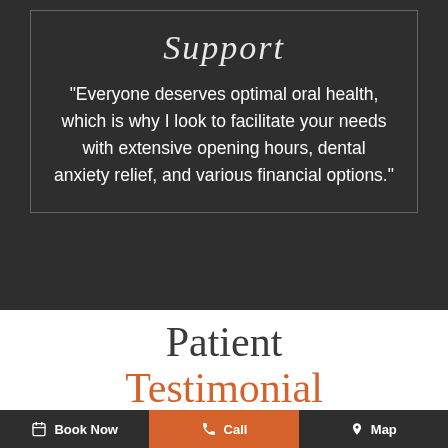Support
"Everyone deserves optimal oral health, which is why I look to facilitate your needs with extensive opening hours, dental anxiety relief, and various financial options."
Patient Testimonial
Book Now  Call  Map